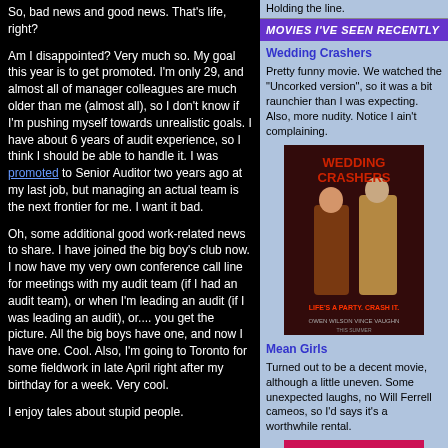So, bad news and good news. That's life, right?
Am I disappointed? Very much so. My goal this year is to get promoted. I'm only 29, and almost all of manager colleagues are much older than me (almost all), so I don't know if I'm pushing myself towards unrealistic goals. I have about 6 years of audit experience, so I think I should be able to handle it. I was promoted to Senior Auditor two years ago at my last job, but managing an actual team is the next frontier for me. I want it bad.
Oh, some additional good work-related news to share. I have joined the big boy's club now. I now have my very own conference call line for meetings with my audit team (if I had an audit team), or when I'm leading an audit (if I was leading an audit), or.... you get the picture. All the big boys have one, and now I have one. Cool. Also, I'm going to Toronto for some fieldwork in late April right after my birthday for a week. Very cool.
I enjoy tales about stupid people.
Holding the line.
MOVIES I'VE SEEN RECENTLY
Wedding Crashers
Pretty funny movie. We watched the "Uncorked version", so it was a bit raunchier than I was expecting. Also, more nudity. Notice I ain't complaining.
[Figure (photo): Movie poster for Wedding Crashers featuring Owen Wilson and Vince Vaughn with tagline LIFE'S A PARTY. CRASH IT.]
Mean Girls
Turned out to be a decent movie, although a little uneven. Some unexpected laughs, no Will Ferrell cameos, so I'd says it's a worthwhile rental.
[Figure (photo): Movie poster for Mean Girls featuring Lindsay Lohan]